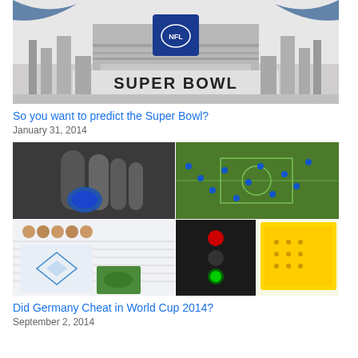[Figure (photo): Super Bowl graphic showing NFL logo with Twitter bird, city skyline and 'SUPER BOWL' text on a stadium banner]
So you want to predict the Super Bowl?
January 31, 2014
[Figure (photo): Collage of four images related to World Cup 2014: sports technology wearables, aerial view of soccer players on field, traffic light/signal, man with laptop next to yellow NVIDIA hardware, and soccer analytics software screenshot]
Did Germany Cheat in World Cup 2014?
September 2, 2014